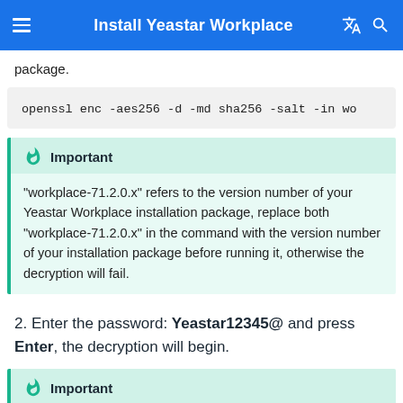Install Yeastar Workplace
package.
Important
"workplace-71.2.0.x" refers to the version number of your Yeastar Workplace installation package, replace both "workplace-71.2.0.x" in the command with the version number of your installation package before running it, otherwise the decryption will fail.
2. Enter the password: Yeastar12345@ and press Enter, the decryption will begin.
Important
No characters will be displayed when you enter the password,